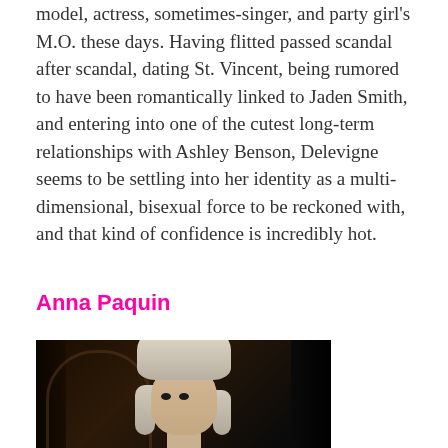model, actress, sometimes-singer, and party girl's M.O. these days. Having flitted passed scandal after scandal, dating St. Vincent, being rumored to have been romantically linked to Jaden Smith, and entering into one of the cutest long-term relationships with Ashley Benson, Delevigne seems to be settling into her identity as a multi-dimensional, bisexual force to be reckoned with, and that kind of confidence is incredibly hot.
Anna Paquin
[Figure (photo): A blonde woman with pale skin wearing a grey high-neck top, photographed in a dark, dimly lit setting with an archway visible in the background.]